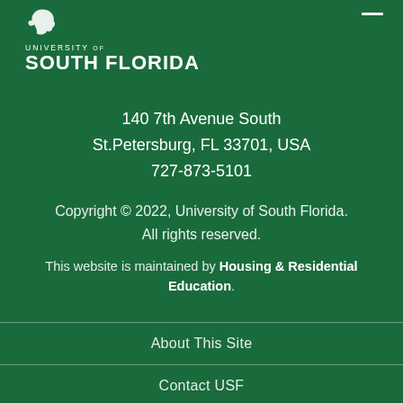[Figure (logo): University of South Florida logo with bull icon and text 'UNIVERSITY of SOUTH FLORIDA']
140 7th Avenue South
St.Petersburg, FL 33701, USA
727-873-5101
Copyright © 2022, University of South Florida.
All rights reserved.
This website is maintained by Housing & Residential Education.
About This Site
Contact USF
Visit USF